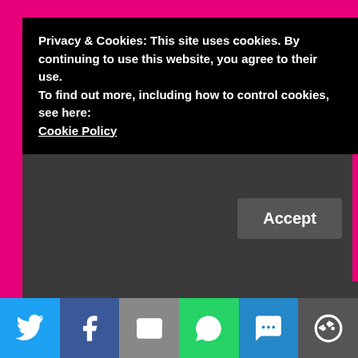Privacy & Cookies: This site uses cookies. By continuing to use this website, you agree to their use.
To find out more, including how to control cookies, see here:
Cookie Policy
Accept
Statements and opinions expressed in reviews, discussions, and posts on this blog are those of the owner of I am, Indeed, unless otherwise stated.
Authors, Publishers and Tour companies may provide an ARC, Galley, or finished copy for review consideration, although no expectations are implied.
All reviews will state the source for material provided.
[Figure (infographic): Social share bar with icons for Twitter, Facebook, Email, WhatsApp, SMS, and More]